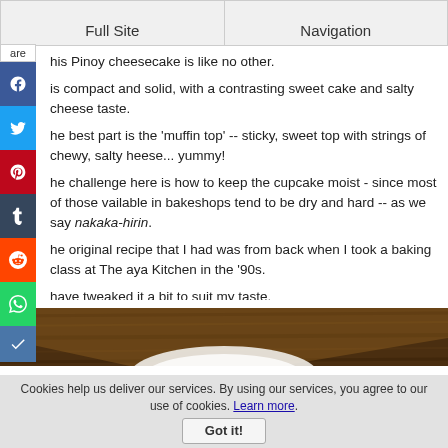Full Site | Navigation
his Pinoy cheesecake is like no other.
is compact and solid, with a contrasting sweet cake and salty cheese taste.
he best part is the 'muffin top' -- sticky, sweet top with strings of chewy, salty heese... yummy!
he challenge here is how to keep the cupcake moist - since most of those vailable in bakeshops tend to be dry and hard -- as we say nakaka-hirin.
he original recipe that I had was from back when I took a baking class at The aya Kitchen in the '90s.
have tweaked it a bit to suit my taste.
I like using part-butter, part-oil to keep my cake moist, even after refrigeration -- which is not really conventional in baking.
But I am more concerned of the end result rather than the convention, so as always, choose whatever works for you.
[Figure (photo): Photo of what appears to be a cheesecake cupcake on a wooden surface, partially visible at bottom of page.]
Cookies help us deliver our services. By using our services, you agree to our use of cookies. Learn more.
Got it!